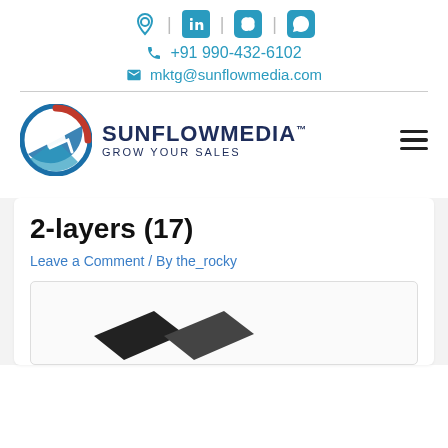Social icons: location, LinkedIn, Skype, WhatsApp | +91 990-432-6102 | mktg@sunflowmedia.com
[Figure (logo): SunflowMedia logo — circular icon with orange/red/blue swirl and a stylized arrow, beside bold text 'SUNFLOWMEDIA™ Grow Your Sales']
2-layers (17)
Leave a Comment / By the_rocky
[Figure (logo): Partial view of SunflowMedia logo in black and white inside a card]